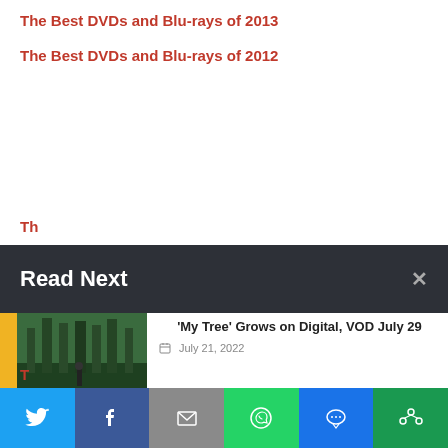The Best DVDs and Blu-rays of 2013
The Best DVDs and Blu-rays of 2012
Th...
Read Next
[Figure (photo): Forest scene with person walking on path among green trees]
'My Tree' Grows on Digital, VOD July 29
July 21, 2022
[Figure (photo): Dark scene with figures in dim lighting]
Arrow Video August Releases
July 10, 2022
Twitter | Facebook | Email | WhatsApp | SMS | Share